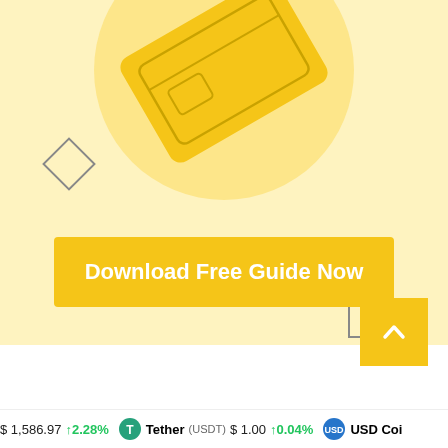[Figure (illustration): Yellow banner with a credit/debit card illustration (golden card rotated diagonally) on a circular light yellow background. Decorative diamond shape on the left and square outline on the right. A bright yellow 'Download Free Guide Now' button at the bottom of the banner.]
Download Free Guide Now
[Figure (other): Yellow square scroll-to-top button with an upward caret/chevron arrow icon.]
$ 1,586.97  ↑2.28%  Tether (USDT)  $ 1.00  ↑0.04%  USD Coi